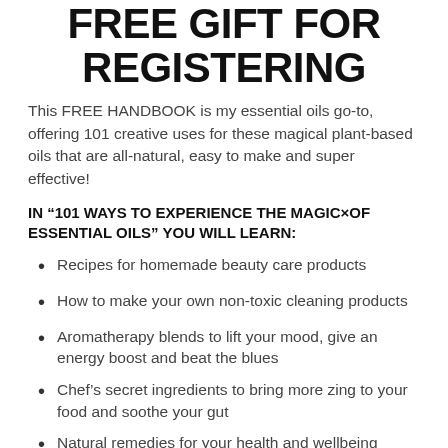FREE GIFT FOR REGISTERING
This FREE HANDBOOK is my essential oils go-to, offering 101 creative uses for these magical plant-based oils that are all-natural, easy to make and super effective!
IN “101 WAYS TO EXPERIENCE THE MAGIC×OF ESSENTIAL OILS” YOU WILL LEARN:
Recipes for homemade beauty care products
How to make your own non-toxic cleaning products
Aromatherapy blends to lift your mood, give an energy boost and beat the blues
Chef’s secret ingredients to bring more zing to your food and soothe your gut
Natural remedies for your health and wellbeing